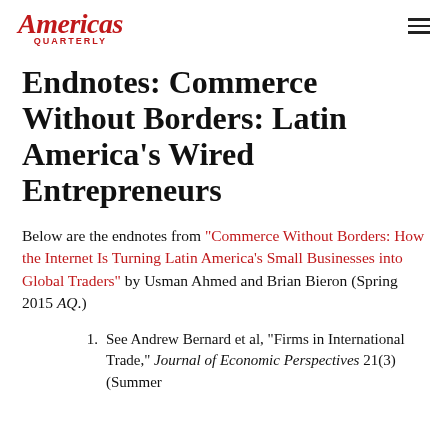Americas Quarterly
Endnotes: Commerce Without Borders: Latin America's Wired Entrepreneurs
Below are the endnotes from “Commerce Without Borders: How the Internet Is Turning Latin America’s Small Businesses into Global Traders” by Usman Ahmed and Brian Bieron (Spring 2015 AQ.)
1. See Andrew Bernard et al, “Firms in International Trade,” Journal of Economic Perspectives 21(3) (Summer